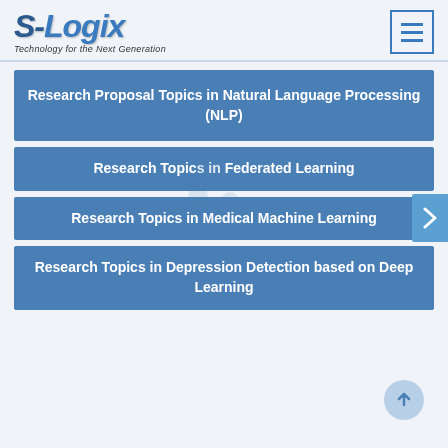[Figure (logo): S-Logix logo with tagline 'Technology for the Next Generation']
Research Proposal Topics in Natural Language Processing (NLP)
Research Topics in Federated Learning
Research Topics in Medical Machine Learning
Research Topics in Depression Detection based on Deep Learning